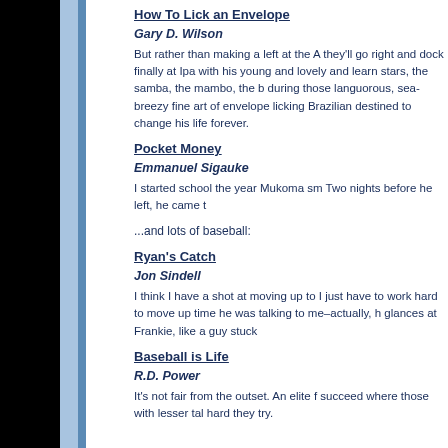How To Lick an Envelope
Gary D. Wilson
But rather than making a left at the A they'll go right and dock finally at Ipa with his young and lovely and learn stars, the samba, the mambo, the b during those languorous, sea-breezy fine art of envelope licking Brazilian destined to change his life forever.
Pocket Money
Emmanuel Sigauke
I started school the year Mukoma sm Two nights before he left, he came t
...and lots of baseball:
Ryan's Catch
Jon Sindell
I think I have a shot at moving up to I just have to work hard to move up time he was talking to me–actually, h glances at Frankie, like a guy stuck
Baseball is Life
R.D. Power
It's not fair from the outset. An elite f succeed where those with lesser tal hard they try.